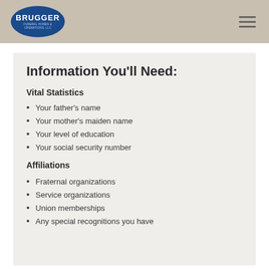Brugger Funeral Homes & Cremations, LLC
Information You'll Need:
Vital Statistics
Your father's name
Your mother's maiden name
Your level of education
Your social security number
Affiliations
Fraternal organizations
Service organizations
Union memberships
Any special recognitions you have